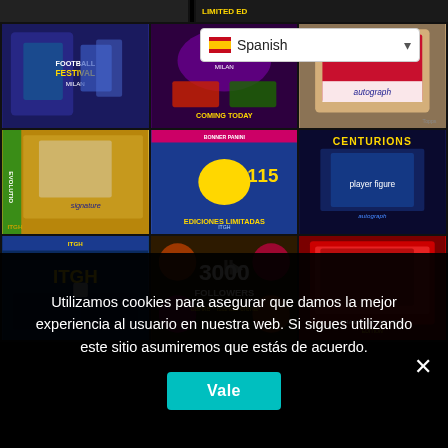[Figure (screenshot): Social media / e-commerce grid showing football trading card products and content. 3x3 grid of image tiles including Football Festival box set, neon promotional image (COMING TODAY), Topps autograph card, Evolution player card, Panini poster with yellow football shirt, Centurions Champions League promo, ITGH blue album cover, 3000 Followers social milestone post, and Champions League card image. A Spanish language selector dropdown is visible at top right.]
Utilizamos cookies para asegurar que damos la mejor experiencia al usuario en nuestra web. Si sigues utilizando este sitio asumiremos que estás de acuerdo.